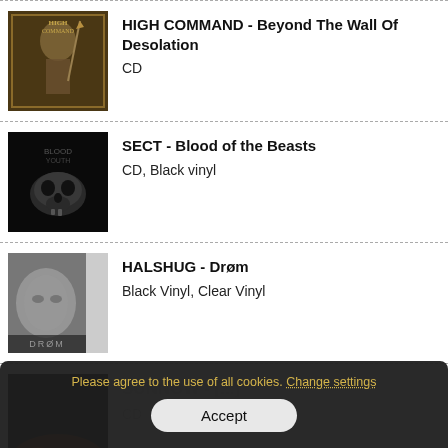HIGH COMMAND - Beyond The Wall Of Desolation
CD
SECT - Blood of the Beasts
CD, Black vinyl
HALSHUG - Drøm
Black Vinyl, Clear Vinyl
SUNNOW - [partially obscured]
CD
Please agree to the use of all cookies. Change settings
Accept